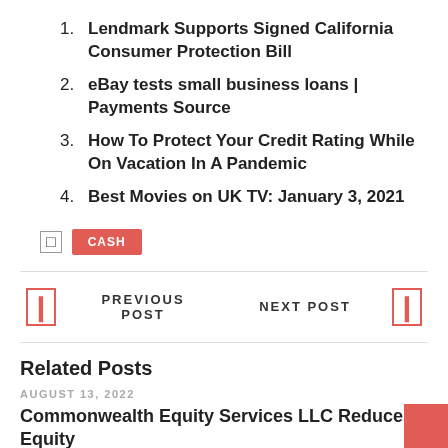Lendmark Supports Signed California Consumer Protection Bill
eBay tests small business loans | Payments Source
How To Protect Your Credit Rating While On Vacation In A Pandemic
Best Movies on UK TV: January 3, 2021
CASH
PREVIOUS POST    NEXT POST
Related Posts
AUGUST 13, 2022
Commonwealth Equity Services LLC Reduces Equity